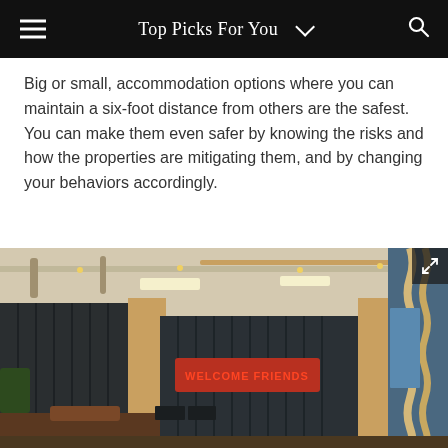Top Picks For You
Big or small, accommodation options where you can maintain a six-foot distance from others are the safest. You can make them even safer by knowing the risks and how the properties are mitigating them, and by changing your behaviors accordingly.
[Figure (photo): Interior of a modern hostel or hotel lobby with industrial decor, exposed ceiling pipes, dark metal shipping container walls, warm orange columns, neon sign reading 'WELCOME FRIENDS', and rope detail on the right side]